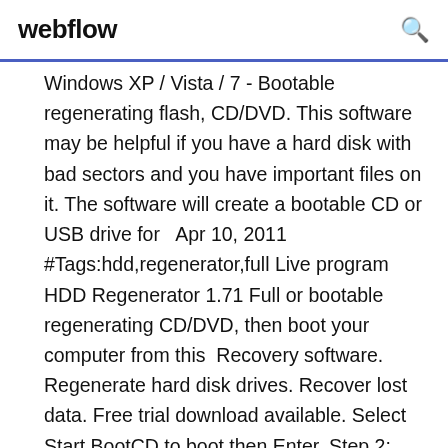webflow
Windows XP / Vista / 7 - Bootable regenerating flash, CD/DVD. This software may be helpful if you have a hard disk with bad sectors and you have important files on it. The software will create a bootable CD or USB drive for   Apr 10, 2011 #Tags:hdd,regenerator,full Live program HDD Regenerator 1.71 Full or bootable regenerating CD/DVD, then boot your computer from this  Recovery software. Regenerate hard disk drives. Recover lost data. Free trial download available. Select Start BootCD to boot then Enter. Step 2: Select Hard Disk Tools... then Enter. Step 3: Select HDD Regenerator 1.71. Then Enter. Step 4: Press any key to. Hiren's BootCD 10.0 + Keyboard Patch